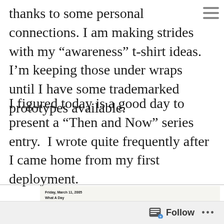thanks to some personal connections. I am making strides with my “awareness” t-shirt ideas. I’m keeping those under wraps until I have some trademarked prototypes available.
I figured today is a good day to present a “Then and Now” series entry.  I wrote quite frequently after I came home from my first deployment.
Friday, March 11, 2005
What A Day

I have been thinking about all that’s been going on in my life and I am amazed that for only being twentyone that so much has hit me. God must really not give you more than you can handle as some days it’s like I am already on that bridge that is falling down. I wonder what else could he possibly add to tip the scales just a little bit more.
On the positive side of things, I got my hair cut today to my chin. It looks adorable and for once I look twentyone, talk about making me happy. I was nervous at first as I don’t really like having to worry about my hair up in uniform but it really looks and feel good on me. I love the cut. Plus I got to donate ten inches to Locks of Love. So a truly feel good, do good hair cut.
I finished watching “Gone with the Wind” with grams, it was a good movie. I thought because it was an older film I wouldn’t like it.
Had several minor chest pains again today. I am going to have it checked out when I go back to Pendleton.
I also got some news in regards to my job, could go on recruiting duty in April so I will possibly be in Massachusetts at that time and be closer to my family. I also have a couple training schools in the work, but will go into that all later.
Get some things off my chest, not everything I guess, ha ha, but I feel somewhat better. Notes to myself…stop being paranoid about stupid crap. Life doesn’t hit you until it hits you and worrying beforehand isn’t getting me anywhere.
Follow